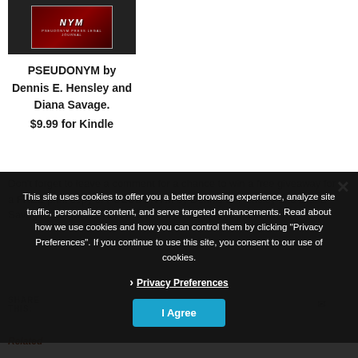[Figure (illustration): Book cover for PSEUDONYM showing dark red/maroon design with stylized NYM logo text]
PSEUDONYM by Dennis E. Hensley and Diana Savage.
$9.99 for Kindle
Don't forget to leave a comment for a chance to win a free giveaway for a FREE print copy of PSEUDONYM by Dennis E. Hensley and Diana Savage. Comments will be taken to ensure...
SHARE THIS:
Related
This site uses cookies to offer you a better browsing experience, analyze site traffic, personalize content, and serve targeted enhancements. Read about how we use cookies and how you can control them by clicking "Privacy Preferences". If you continue to use this site, you consent to our use of cookies.
Privacy Preferences
I Agree